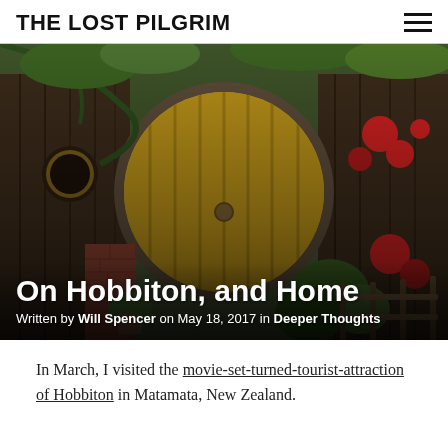THE LOST PILGRIM
[Figure (photo): A Hobbiton movie set hobbit hole with a large circular yellow wooden door, surrounded by wooden structures, red flowers, green plants and vines. Set in Matamata, New Zealand.]
On Hobbiton, and Home
Written by Will Spencer on May 18, 2017 in Deeper Thoughts
In March, I visited the movie-set-turned-tourist-attraction of Hobbiton in Matamata, New Zealand.